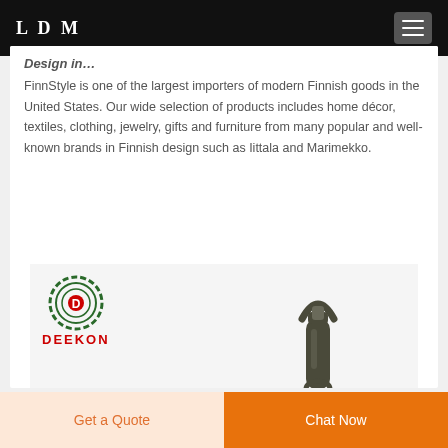LDM
Design in…
FinnStyle is one of the largest importers of modern Finnish goods in the United States. Our wide selection of products includes home décor, textiles, clothing, jewelry, gifts and furniture from many popular and well-known brands in Finnish design such as Iittala and Marimekko.
[Figure (logo): DEEKON logo with circular target icon and red text, alongside a photo of a dark metal tool/carabiner]
Get a Quote | Chat Now